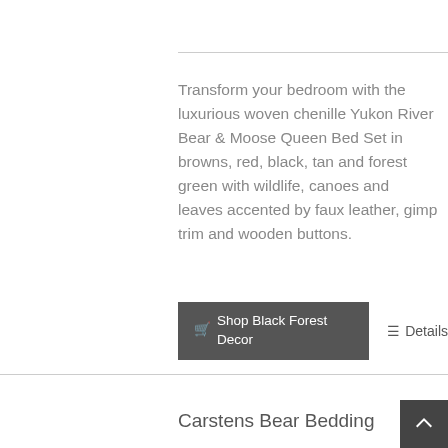Transform your bedroom with the luxurious woven chenille Yukon River Bear & Moose Queen Bed Set in browns, red, black, tan and forest green with wildlife, canoes and leaves accented by faux leather, gimp trim and wooden buttons.
🛒 Shop Black Forest Decor
☰ Details
Carstens Bear Bedding